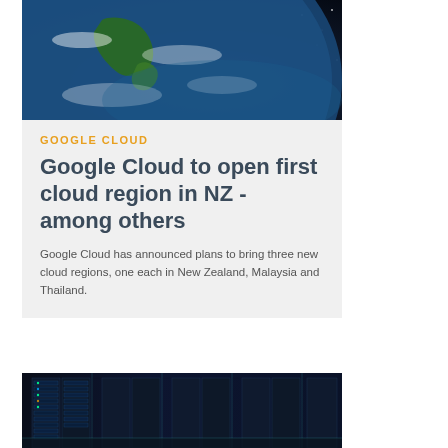[Figure (photo): Aerial/satellite view of New Zealand from space with green landmass and blue ocean with clouds]
GOOGLE CLOUD
Google Cloud to open first cloud region in NZ - among others
Google Cloud has announced plans to bring three new cloud regions, one each in New Zealand, Malaysia and Thailand.
[Figure (photo): Interior of a data center with rows of server racks and blue lighting]